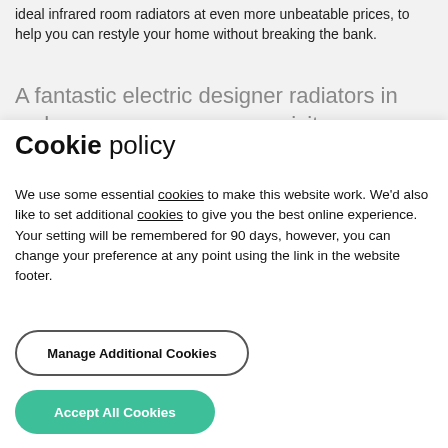ideal infrared room radiators at even more unbeatable prices, to help you can restyle your home without breaking the bank.
A fantastic electric designer radiators in a showroom near you, can visit
Cookie policy
We use some essential cookies to make this website work. We'd also like to set additional cookies to give you the best online experience.
Your setting will be remembered for 90 days, however, you can change your preference at any point using the link in the website footer.
Manage Additional Cookies
Accept All Cookies